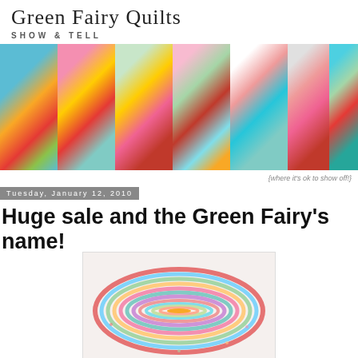[Figure (photo): Green Fairy Quilts blog banner showing 'SHOW & TELL' with colorful quilt strip photos and the text '{where it's ok to show off!}']
Tuesday, January 12, 2010
Huge sale and the Green Fairy's name!
[Figure (photo): Photo of a colorful jelly roll rug in an oval shape made from coiled fabric strips in pastel and bright colors]